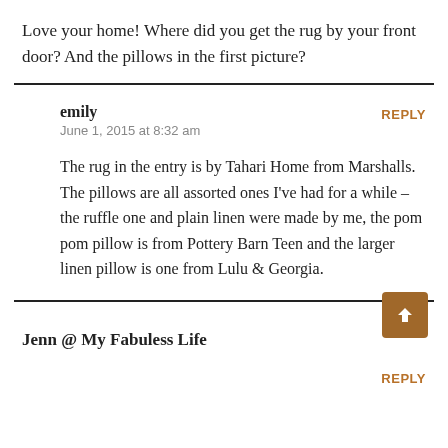Love your home! Where did you get the rug by your front door? And the pillows in the first picture?
emily
June 1, 2015 at 8:32 am
REPLY
The rug in the entry is by Tahari Home from Marshalls. The pillows are all assorted ones I've had for a while – the ruffle one and plain linen were made by me, the pom pom pillow is from Pottery Barn Teen and the larger linen pillow is one from Lulu & Georgia.
Jenn @ My Fabuless Life
REPLY